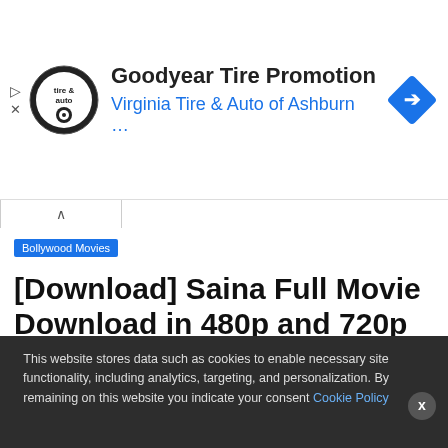[Figure (screenshot): Advertisement banner for Goodyear Tire Promotion by Virginia Tire & Auto of Ashburn, with circular logo on left and blue diamond arrow icon on right]
Bollywood Movies
[Download] Saina Full Movie Download in 480p and 720p HD Leaked By Filmywap, Filmyzilla, Pagalworld, Moviescounter
This website stores data such as cookies to enable necessary site functionality, including analytics, targeting, and personalization. By remaining on this website you indicate your consent Cookie Policy